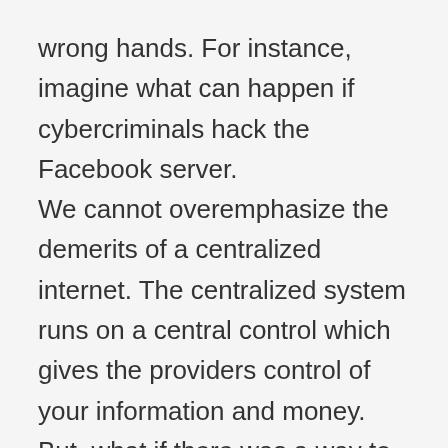wrong hands. For instance, imagine what can happen if cybercriminals hack the Facebook server.
We cannot overemphasize the demerits of a centralized internet. The centralized system runs on a central control which gives the providers control of your information and money. But, what if there was a way to make things better?
We believe that running the internet on a decentralized system can help us preserve our data and money. With the rapid advancement in blockchain technology, we can now enjoy better data security and save money. You can click